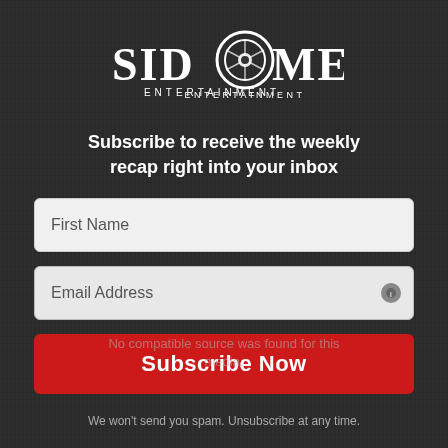[Figure (logo): SIDOMEX ENTERTAINMENT logo - white text with camera aperture icon replacing the O in SIDOMEX]
Subscribe to receive the weekly recap right into your inbox
First Name
Email Address
Subscribe Now
No compatible source was found for this media.
We won't send you spam. Unsubscribe at any time.